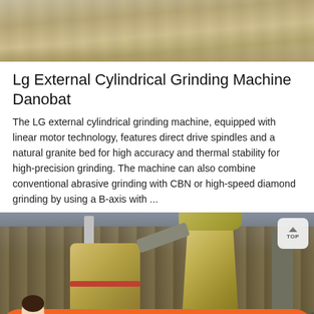[Figure (photo): Top portion of a photo showing an outdoor ground/dirt surface with sandy/earthy texture]
Lg External Cylindrical Grinding Machine Danobat
The LG external cylindrical grinding machine, equipped with linear motor technology, features direct drive spindles and a natural granite bed for high accuracy and thermal stability for high-precision grinding. The machine can also combine conventional abrasive grinding with CBN or high-speed diamond grinding by using a B-axis with ...
[Figure (photo): Photo of industrial grinding/milling equipment outdoors — large cylindrical yellow/beige industrial machines with pipes and ducts, against a wooden fence background with a smokestack visible]
Message   Online Chat